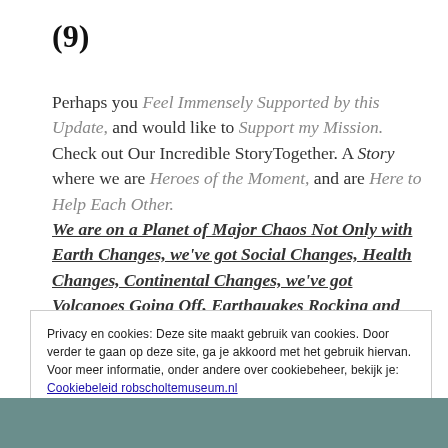(9)
Perhaps you Feel Immensely Supported by this Update, and would like to Support my Mission. Check out Our Incredible StoryTogether. A Story where we are Heroes of the Moment, and are Here to Help Each Other. We are on a Planet of Major Chaos Not Only with Earth Changes, we've got Social Changes, Health Changes, Continental Changes, we've got Volcanoes Going Off, Earthquakes Rocking and Truth is in Short
Privacy en cookies: Deze site maakt gebruik van cookies. Door verder te gaan op deze site, ga je akkoord met het gebruik hiervan.
Voor meer informatie, onder andere over cookiebeheer, bekijk je:
Cookiebeleid robscholtemuseum.nl
Sluiten en bevestigen
[Figure (photo): Partial photo visible at bottom of page, teal/blue toned image]